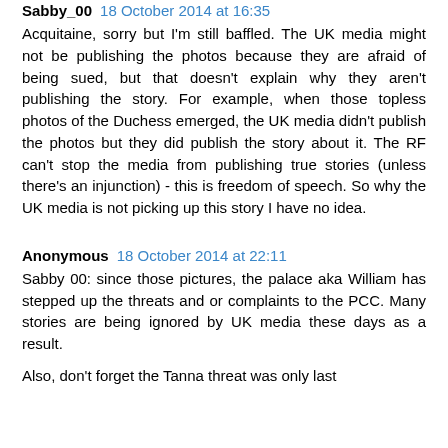Sabby_00  18 October 2014 at 16:35
Acquitaine, sorry but I'm still baffled. The UK media might not be publishing the photos because they are afraid of being sued, but that doesn't explain why they aren't publishing the story. For example, when those topless photos of the Duchess emerged, the UK media didn't publish the photos but they did publish the story about it. The RF can't stop the media from publishing true stories (unless there's an injunction) - this is freedom of speech. So why the UK media is not picking up this story I have no idea.
Anonymous  18 October 2014 at 22:11
Sabby 00: since those pictures, the palace aka William has stepped up the threats and or complaints to the PCC. Many stories are being ignored by UK media these days as a result.
Also, don't forget the Tanna threat was only last